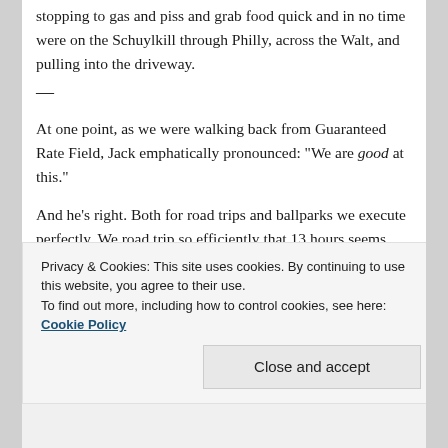stopping to gas and piss and grab food quick and in no time were on the Schuylkill through Philly, across the Walt, and pulling into the driveway.
—
At one point, as we were walking back from Guaranteed Rate Field, Jack emphatically pronounced: "We are good at this."
And he's right. Both for road trips and ballparks we execute perfectly. We road trip so efficiently that 13 hours seems easy, almost matter of fact – and we took in every second. As for ballparks, we know how to get there, how to navigate, how to flow with the crowds and
Privacy & Cookies: This site uses cookies. By continuing to use this website, you agree to their use.
To find out more, including how to control cookies, see here: Cookie Policy
Close and accept